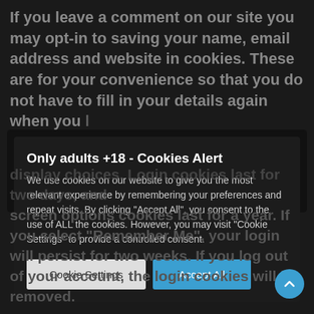If you leave a comment on our site you may opt-in to saving your name, email address and website in cookies. These are for your convenience so that you do not have to fill in your details again when you leave another comment. These cookies will last for
Only adults +18 - Cookies Alert
We use cookies on our website to give you the most relevant experience by remembering your preferences and repeat visits. By clicking "Accept All", you consent to the use of ALL the cookies. However, you may visit "Cookie Settings" to provide a controlled consent.
display choices. Login cookies last for two days, and screen options cookies last for a year. If you select "Remember Me", your login will persist for two weeks. If you log out of your account, the login cookies will be removed.